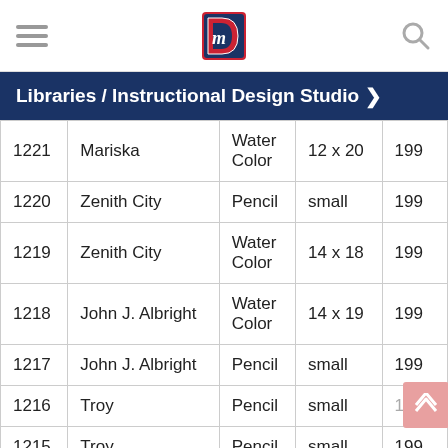Libraries / Instructional Design Studio
| ID | Location | Type | Size | Year |
| --- | --- | --- | --- | --- |
| 1221 | Mariska | Water Color | 12 x 20 | 199 |
| 1220 | Zenith City | Pencil | small | 199 |
| 1219 | Zenith City | Water Color | 14 x 18 | 199 |
| 1218 | John J. Albright | Water Color | 14 x 19 | 199 |
| 1217 | John J. Albright | Pencil | small | 199 |
| 1216 | Troy | Pencil | small | 199 |
| 1215 | Troy | Pencil | small | 199 |